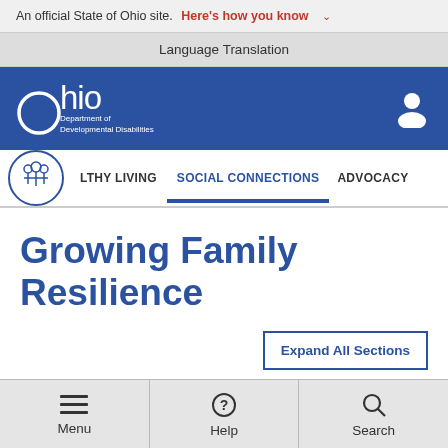An official State of Ohio site. Here's how you know
Language Translation
[Figure (logo): Ohio Department of Developmental Disabilities logo with white Ohio text and circle on blue background]
LTHY LIVING   SOCIAL CONNECTIONS   ADVOCACY
Growing Family Resilience
Expand All Sections
Menu   Help   Search